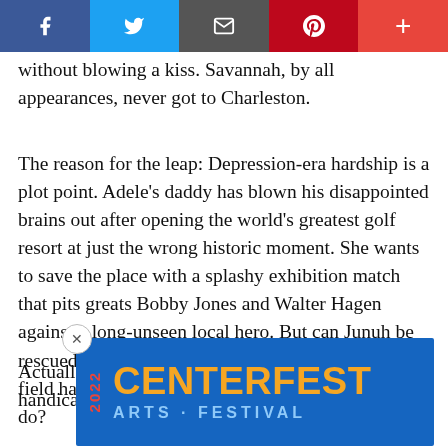Social share bar with Facebook, Twitter, Email, Pinterest, Plus buttons
without blowing a kiss. Savannah, by all appearances, never got to Charleston.
The reason for the leap: Depression-era hardship is a plot point. Adele's daddy has blown his disappointed brains out after opening the world's greatest golf resort at just the wrong historic moment. She wants to save the place with a splashy exhibition match that pits greats Bobby Jones and Walter Hagen against a long-unseen local hero. But can Junuh be rescued from drinking and playing cards with the field hands, as Those Who Can't Forget are wont to do?
Actuall... s if he's re... n of damag... golf handica... the
[Figure (advertisement): 2022 Centerfest Arts Festival advertisement banner in blue with orange and light blue text, with an X close button]